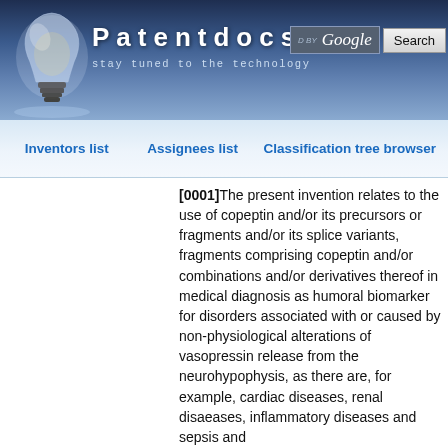Patentdocs — stay tuned to the technology
Inventors list | Assignees list | Classification tree browser
[0001]The present invention relates to the use of copeptin and/or its precursors or fragments and/or its splice variants, fragments comprising copeptin and/or combinations and/or derivatives thereof in medical diagnosis as humoral biomarker for disorders associated with or caused by non-physiological alterations of vasopressin release from the neurohypophysis, as there are, for example, cardiac diseases, renal disaeases, inflammatory diseases and sepsis and